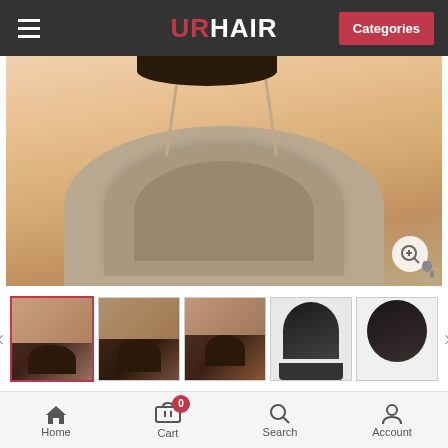URHAIR
[Figure (photo): Product photo of a woman wearing a short black kinky afro wig, shown from shoulders up with a beige ruffled top]
[Figure (photo): Thumbnail gallery with 5 images: front view of model with wig, side/back views of wig, and wig cap construction diagrams]
CHIN LENGTH BLACK KINKY WITHOUT BANGS ONLINE AFRICAN AMERICAN WIGS
£84.00
SIZE: *
Average(A)
Home  Cart  Search  Account